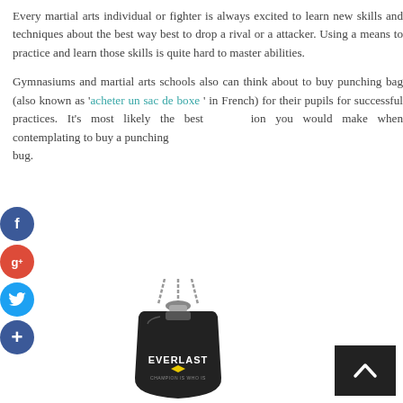Every martial arts individual or fighter is always excited to learn new skills and techniques about the best way best to drop a rival or a attacker. Using a means to practice and learn those skills is quite hard to master abilities.
Gymnasiums and martial arts schools also can think about to buy punching bag (also known as 'acheter un sac de boxe' in French) for their pupils for successful practices. It's most likely the best ion you would make when contemplating to buy a punching bug.
[Figure (photo): Everlast heavy punching bag hanging from chains, black leather with Everlast logo]